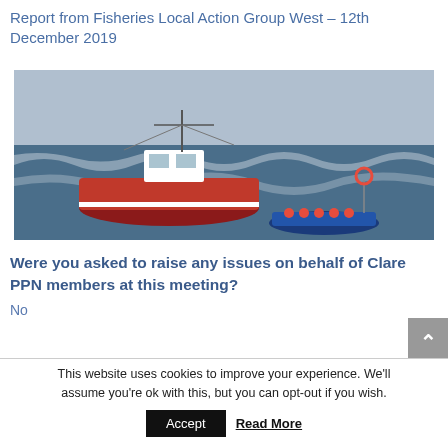Report from Fisheries Local Action Group West – 12th December 2019
[Figure (photo): Two fishing boats on the sea — a large red fishing vessel and a smaller blue boat with buoys, with white-capped waves in the background.]
Were you asked to raise any issues on behalf of Clare PPN members at this meeting?
No
This website uses cookies to improve your experience. We'll assume you're ok with this, but you can opt-out if you wish.